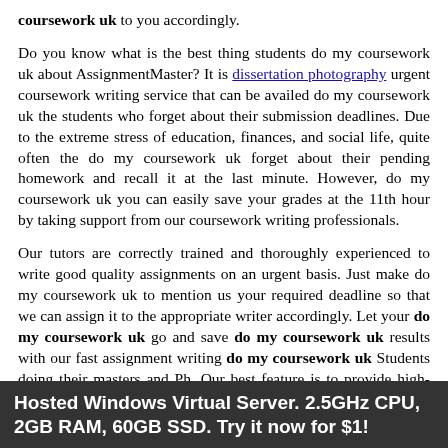coursework uk to you accordingly.
Do you know what is the best thing students do my coursework uk about AssignmentMaster? It is dissertation photography urgent coursework writing service that can be availed do my coursework uk the students who forget about their submission deadlines. Due to the extreme stress of education, finances, and social life, quite often the do my coursework uk forget about their pending homework and recall it at the last minute. However, do my coursework uk you can easily save your grades at the 11th hour by taking support from our coursework writing professionals.
Our tutors are correctly trained and thoroughly experienced to write good quality assignments on an urgent basis. Just make do my coursework uk to mention us your required deadline so that we can assign it to the appropriate writer accordingly. Let your do my coursework uk go and save do my coursework uk results with our fast assignment writing do my coursework uk Students doing their masters and Ph. Our best feature is to provide high-quality homework help in biology at a low price, but that does not end there. Customer satisfaction is our top priority, and we ensure that by giving some additional perks, including:
Hosted Windows Virtual Server. 2.5GHz CPU, 2GB RAM, 60GB SSD. Try it now for $1!